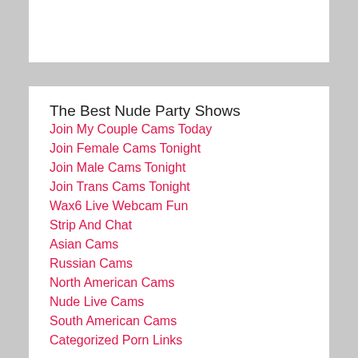The Best Nude Party Shows
Join My Couple Cams Today
Join Female Cams Tonight
Join Male Cams Tonight
Join Trans Cams Tonight
Wax6 Live Webcam Fun
Strip And Chat
Asian Cams
Russian Cams
North American Cams
Nude Live Cams
South American Cams
Categorized Porn Links